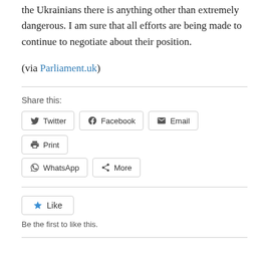the Ukrainians there is anything other than extremely dangerous. I am sure that all efforts are being made to continue to negotiate about their position.
(via Parliament.uk)
Share this:
Twitter  Facebook  Email  Print  WhatsApp  More
Like
Be the first to like this.